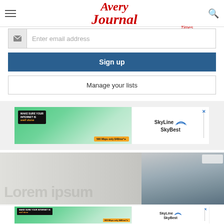The Avery Journal Times
Enter email address
Sign up
Manage your lists
[Figure (illustration): SkyLine SkyBest internet advertisement banner: Make sure your internet is well done. 500 Mbps only $48/mo.]
[Figure (photo): Partial image of a woman looking to the right, appears to be a news article image]
[Figure (illustration): SkyLine SkyBest internet advertisement banner (second instance): Make sure your internet is well done. 500 Mbps only $48/mo.]